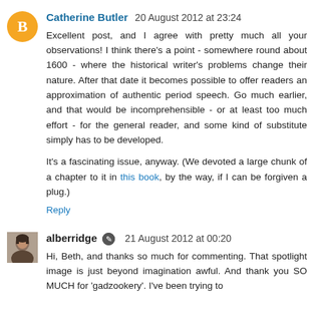[Figure (other): Orange circle avatar with blogger 'B' icon]
Catherine Butler  20 August 2012 at 23:24
Excellent post, and I agree with pretty much all your observations! I think there's a point - somewhere round about 1600 - where the historical writer's problems change their nature. After that date it becomes possible to offer readers an approximation of authentic period speech. Go much earlier, and that would be incomprehensible - or at least too much effort - for the general reader, and some kind of substitute simply has to be developed.

It's a fascinating issue, anyway. (We devoted a large chunk of a chapter to it in this book, by the way, if I can be forgiven a plug.)
Reply
[Figure (photo): Small photo avatar of alberridge, a person with short hair]
alberridge  21 August 2012 at 00:20
Hi, Beth, and thanks so much for commenting. That spotlight image is just beyond imagination awful. And thank you SO MUCH for 'gadzookery'. I've been trying to